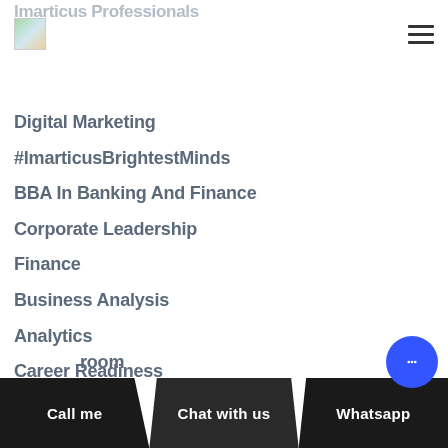Imarticus Learning - logo and hamburger menu
Imarticus Professionals
Digital Marketing
#ImarticusBrightestMinds
BBA In Banking And Finance
Corporate Leadership
Finance
Business Analysis
Analytics
Career Readiness
What Is
Classroom
Webinars
Call me | Chat with us | Whatsapp